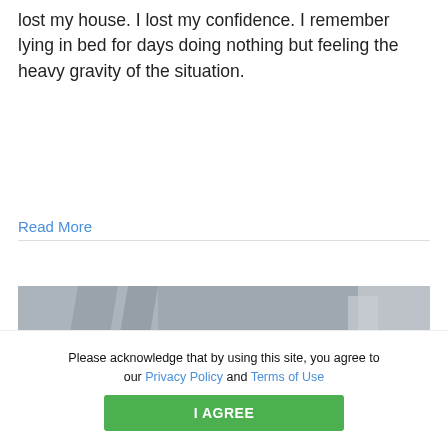lost my house. I lost my confidence. I remember lying in bed for days doing nothing but feeling the heavy gravity of the situation.
Read More
[Figure (photo): A person lying in bed, viewed from above, in a dimly lit room. Only the top of the person's head is visible.]
We use cookies to ensure you receive the best experience while on our website.
Please acknowledge that by using this site, you agree to our Privacy Policy and Terms of Use
I AGREE